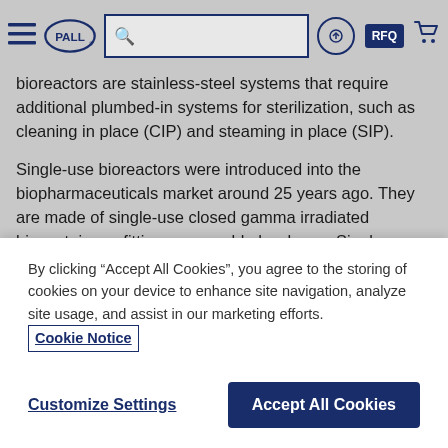PALL navigation bar with logo, search, login, RFQ, and cart icons
bioreactors are stainless-steel systems that require additional plumbed-in systems for sterilization, such as cleaning in place (CIP) and steaming in place (SIP).
Single-use bioreactors were introduced into the biopharmaceuticals market around 25 years ago. They are made of single-use closed gamma irradiated biocontainers, fitting on reusable hardware. Single-use bioreactors are increasingly used for small-scale, mid-scale, and large-scale production runs given their many benefits.
Stirred-tank bioreactors are equipped with an impeller for homogenizing culture media and a sparger for delivering oxygen to the cells. Stirred-tank
By clicking “Accept All Cookies”, you agree to the storing of cookies on your device to enhance site navigation, analyze site usage, and assist in our marketing efforts. Cookie Notice
Customize Settings
Accept All Cookies